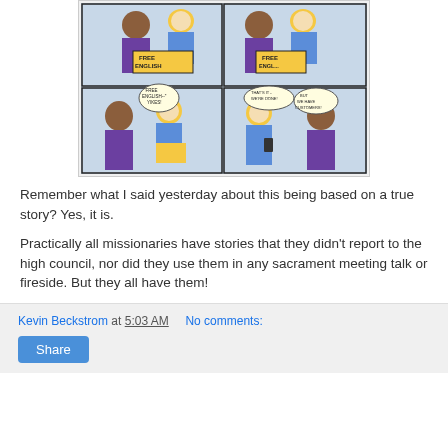[Figure (illustration): A 4-panel comic strip showing two characters, one with dark hair wearing purple and one with light hair, holding 'Free English' signs. Speech bubbles read: 'FREE ENGLISH--' YIKES!', 'THAT'S IT - WE'RE DONE!', 'BUT WE HAVE CUSTOMERS!']
Remember what I said yesterday about this being based on a true story? Yes, it is.
Practically all missionaries have stories that they didn't report to the high council, nor did they use them in any sacrament meeting talk or fireside. But they all have them!
Kevin Beckstrom at 5:03 AM    No comments:
Share